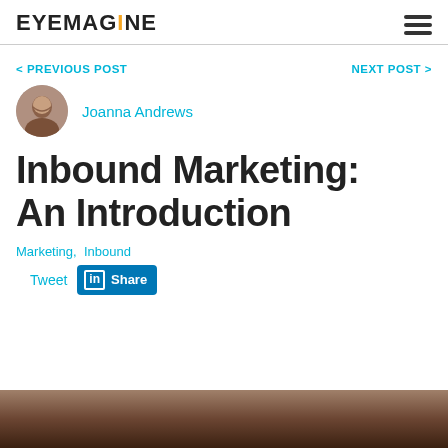EYEMAGINE
< PREVIOUS POST
NEXT POST >
Joanna Andrews
Inbound Marketing: An Introduction
Marketing, Inbound
Tweet  Share
[Figure (photo): Bottom partial image of a scene, dark brownish tones]